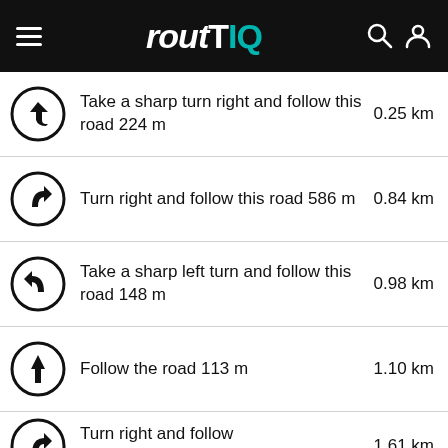routIQ
Take a sharp turn right and follow this road 224 m
Turn right and follow this road 586 m
Take a sharp left turn and follow this road 148 m
Follow the road 113 m
Turn right and follow this road 717 m